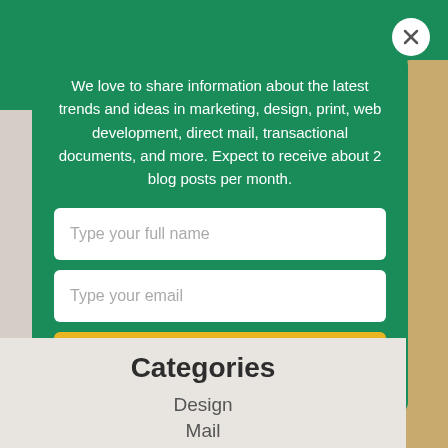We love to share information about the latest trends and ideas in marketing, design, print, web development, direct mail, transactional documents, and more. Expect to receive about 2 blog posts per month.
[Figure (screenshot): Newsletter subscription modal with teal background, two input fields (Type your full name, Type your email), and a yellow Subscribe button]
Categories
Design
Mail